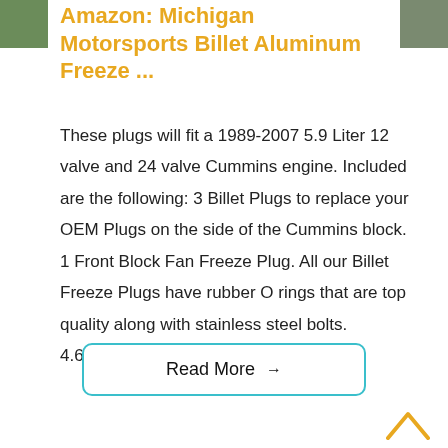[Figure (photo): Small thumbnail image on the top left corner, green/nature tones]
[Figure (photo): Small thumbnail image on the top right corner, green/nature tones]
Amazon: Michigan Motorsports Billet Aluminum Freeze ...
These plugs will fit a 1989-2007 5.9 Liter 12 valve and 24 valve Cummins engine. Included are the following: 3 Billet Plugs to replace your OEM Plugs on the side of the Cummins block. 1 Front Block Fan Freeze Plug. All our Billet Freeze Plugs have rubber O rings that are top quality along with stainless steel bolts. 4.6/5(16)
Read More →